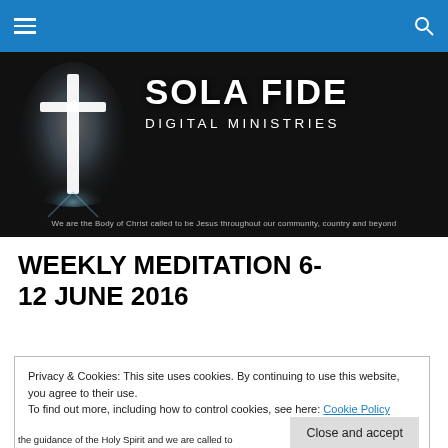Sola Fide Digital Ministries navigation bar
[Figure (logo): Sola Fide Digital Ministries banner with cross and tagline: We are the Body of Christ called to be Jesus throughout our community, country and beyond]
WEEKLY MEDITATION 6-12 JUNE 2016
Privacy & Cookies: This site uses cookies. By continuing to use this website, you agree to their use.
To find out more, including how to control cookies, see here: Cookie Policy
Close and accept
the guidance of the Holy Spirit and we are called to